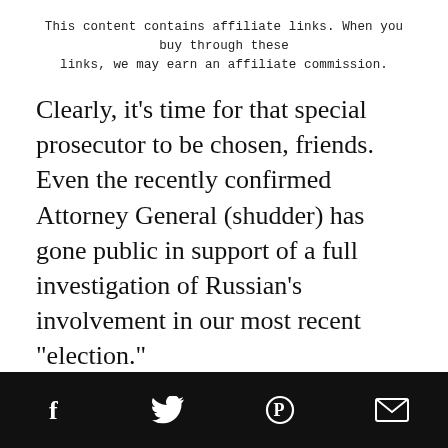This content contains affiliate links. When you buy through these links, we may earn an affiliate commission.
Clearly, it’s time for that special prosecutor to be chosen, friends. Even the recently confirmed Attorney General (shudder) has gone public in support of a full investigation of Russian’s involvement in our most recent “election.”
Raise your hand if you think the current establishment will appoint someone competent and impartial.
[Social share icons: Facebook, Twitter, Pinterest, Email]